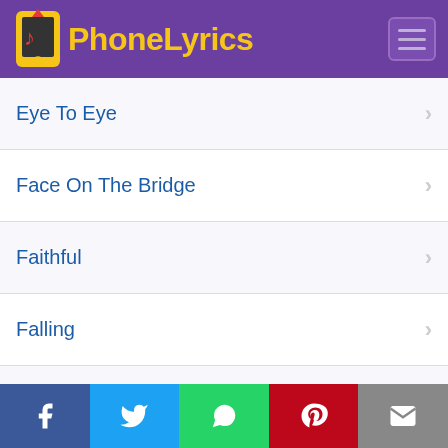PhoneLyrics
Eye To Eye
Face On The Bridge
Faithful
Falling
Fanfare For The Common Man (Live)
Feels Like Love
Fight Against The Tide
Finger On The Trigger
Facebook Twitter WhatsApp Pinterest Email